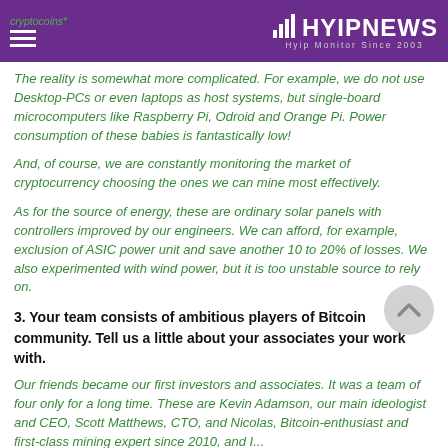cryptocoins* | HYIPNEWS Hyip Monitor Since 2003
The reality is somewhat more complicated. For example, we do not use Desktop-PCs or even laptops as host systems, but single-board microcomputers like Raspberry Pi, Odroid and Orange Pi. Power consumption of these babies is fantastically low!
And, of course, we are constantly monitoring the market of cryptocurrency choosing the ones we can mine most effectively.
As for the source of energy, these are ordinary solar panels with controllers improved by our engineers. We can afford, for example, exclusion of ASIC power unit and save another 10 to 20% of losses. We also experimented with wind power, but it is too unstable source to rely on.
3. Your team consists of ambitious players of Bitcoin community. Tell us a little about your associates your work with.
Our friends became our first investors and associates. It was a team of four only for a long time. These are Kevin Adamson, our main ideologist and CEO, Scott Matthews, CTO, and Nicolas, Bitcoin-enthusiast and first-class mining expert since 2010, and I...